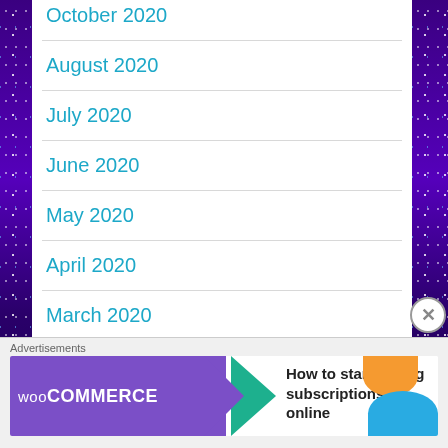October 2020
August 2020
July 2020
June 2020
May 2020
April 2020
March 2020
February 2020
January 2020
Advertisements
[Figure (screenshot): WooCommerce advertisement banner: 'How to start selling subscriptions online']